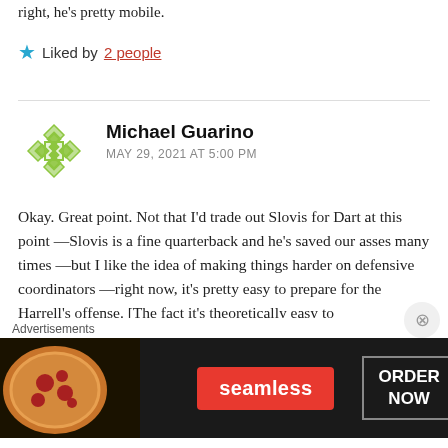right, he's pretty mobile.
Liked by 2 people
Michael Guarino
MAY 29, 2021 AT 5:00 PM
Okay. Great point. Not that I'd trade out Slovis for Dart at this point —Slovis is a fine quarterback and he's saved our asses many times —but I like the idea of making things harder on defensive coordinators —right now, it's pretty easy to prepare for the Harrell's offense. [The fact it's theoretically easy to
Advertisements
[Figure (photo): Seamless food delivery advertisement with pizza image, Seamless red logo, and ORDER NOW button]